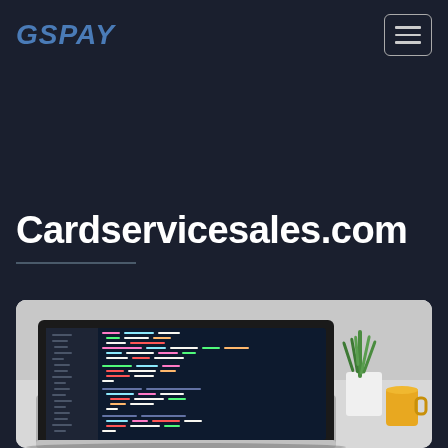GSPAY
Cardservicesales.com
[Figure (photo): Laptop with code editor open on screen, showing colorful syntax-highlighted code. A green plant and yellow cup/mug are in the background on a white desk.]